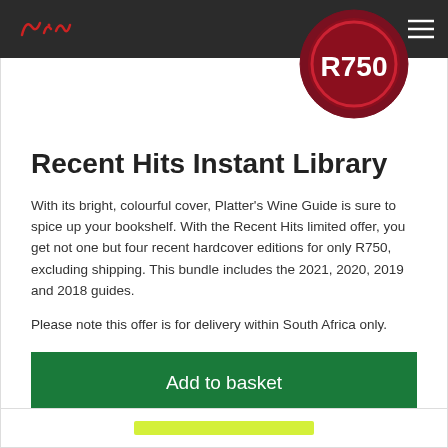Platter's Wine Guide navigation bar with logo, cart icon, and hamburger menu
[Figure (other): Price badge circle showing R750 in dark red/crimson circle with lighter red ring]
Recent Hits Instant Library
With its bright, colourful cover, Platter's Wine Guide is sure to spice up your bookshelf. With the Recent Hits limited offer, you get not one but four recent hardcover editions for only R750, excluding shipping. This bundle includes the 2021, 2020, 2019 and 2018 guides.
Please note this offer is for delivery within South Africa only.
Add to basket
[Figure (other): Bottom of next product card showing a yellow-green bar element]